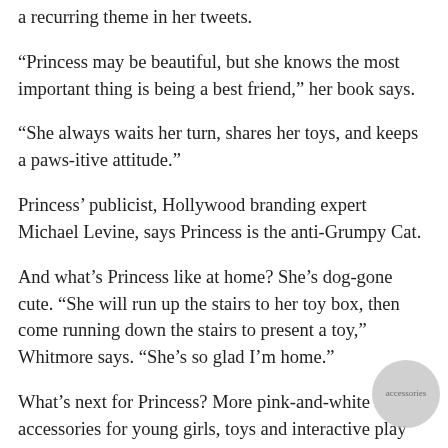a recurring theme in her tweets.
“Princess may be beautiful, but she knows the most important thing is being a best friend,” her book says.
“She always waits her turn, shares her toys, and keeps a paws-itive attitude.”
Princess’ publicist, Hollywood branding expert Michael Levine, says Princess is the anti-Grumpy Cat.
And what’s Princess like at home? She’s dog-gone cute. “She will run up the stairs to her toy box, then come running down the stairs to present a toy,” Whitmore says. “She’s so glad I’m home.”
What’s next for Princess? More pink-and-white accessories for young girls, toys and interactive play sets from